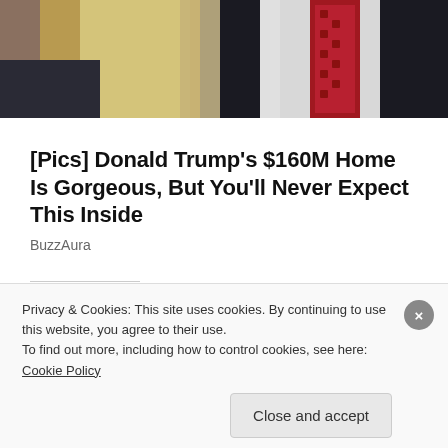[Figure (photo): Cropped photo showing two people — a woman with long blonde hair and a man wearing a white shirt and red patterned tie, both in dark clothing, partially visible.]
[Pics] Donald Trump's $160M Home Is Gorgeous, But You'll Never Expect This Inside
BuzzAura
Share this:
Twitter
Facebook
Loading...
Privacy & Cookies: This site uses cookies. By continuing to use this website, you agree to their use.
To find out more, including how to control cookies, see here: Cookie Policy
Close and accept